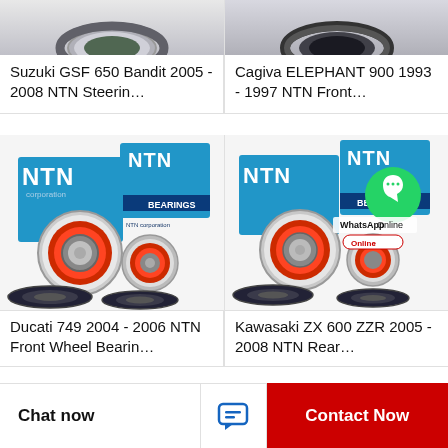[Figure (photo): Top portion of a gray rubber seal ring / Suzuki GSF 650 Bandit bearing product]
Suzuki GSF 650 Bandit 2005 - 2008 NTN Steerin…
[Figure (photo): Top portion of a dark rubber seal ring / Cagiva Elephant 900 bearing product]
Cagiva ELEPHANT 900 1993 - 1997 NTN Front…
[Figure (photo): NTN Bearings kit with blue NTN branded boxes and two bearings with orange/black seals and two oil seals — Ducati 749 product]
Ducati 749 2004 - 2006 NTN Front Wheel Bearin…
[Figure (photo): NTN Bearings kit with blue NTN branded boxes and bearings with orange/black seals and oil seals, with WhatsApp Online overlay — Kawasaki ZX 600 ZZR product]
Kawasaki ZX 600 ZZR 2005 - 2008 NTN Rear…
Chat now
Contact Now